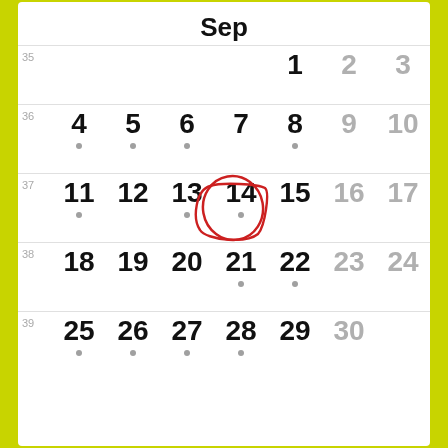Sep
[Figure (screenshot): September calendar view showing weeks 35-39 with week numbers on left. Day 14 is circled in red. Various days have event indicator dots.]